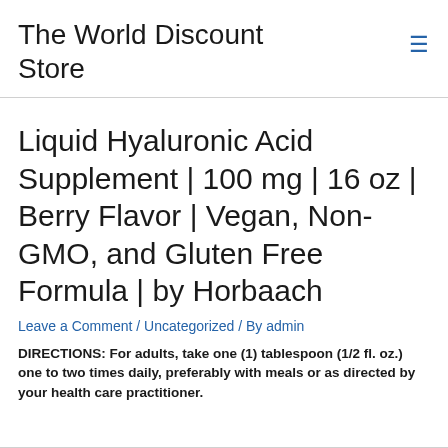The World Discount Store
Liquid Hyaluronic Acid Supplement | 100 mg | 16 oz | Berry Flavor | Vegan, Non-GMO, and Gluten Free Formula | by Horbaach
Leave a Comment / Uncategorized / By admin
DIRECTIONS: For adults, take one (1) tablespoon (1/2 fl. oz.) one to two times daily, preferably with meals or as directed by your health care practitioner.